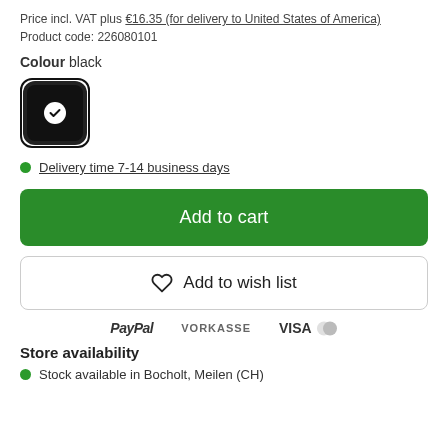Price incl. VAT plus €16.35 (for delivery to United States of America)
Product code: 226080101
Colour black
[Figure (other): Black colour swatch square with rounded corners, showing a white checkmark circle inside]
Delivery time 7-14 business days
Add to cart
Add to wish list
[Figure (logo): Payment logos: PayPal, VORKASSE, VISA with Mastercard symbol]
Store availability
Stock available in Bocholt, Meilen (CH)